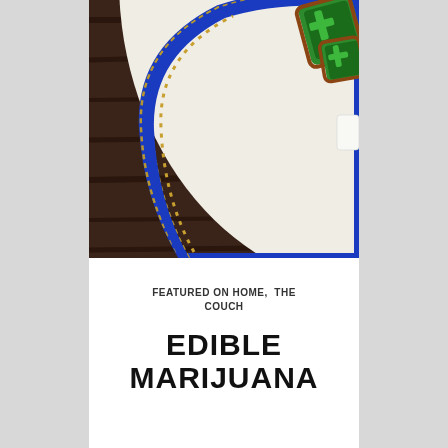[Figure (photo): Close-up photo of a white ceramic plate with blue and gold decorative border rim sitting on dark wood. On the upper right of the plate are green and brown marijuana leaf-shaped cookies/iced biscuits.]
FEATURED ON HOME, THE COUCH
EDIBLE MARIJUANA